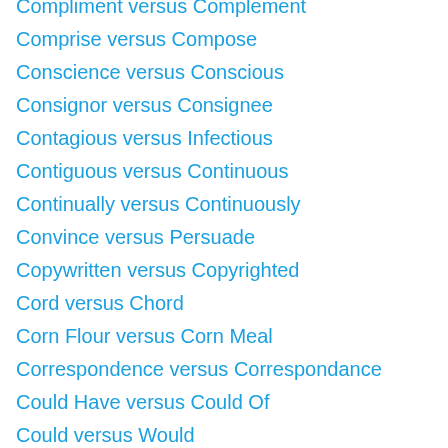Compliment versus Complement
Comprise versus Compose
Conscience versus Conscious
Consignor versus Consignee
Contagious versus Infectious
Contiguous versus Continuous
Continually versus Continuously
Convince versus Persuade
Copywritten versus Copyrighted
Cord versus Chord
Corn Flour versus Corn Meal
Correspondence versus Correspondance
Could Have versus Could Of
Could versus Would
Counselling versus Counseling